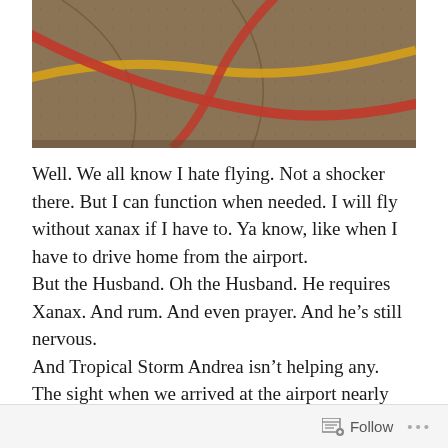[Figure (photo): Close-up photo of a basketball surface showing leather panels with red and yellow/orange curved lines/seams against a dark tan/brown background]
Well. We all know I hate flying. Not a shocker there. But I can function when needed. I will fly without xanax if I have to. Ya know, like when I have to drive home from the airport.
But the Husband. Oh the Husband. He requires Xanax. And rum. And even prayer. And he’s still nervous.
And Tropical Storm Andrea isn’t helping any.
The sight when we arrived at the airport nearly sent the Husband to tears.
Follow •••